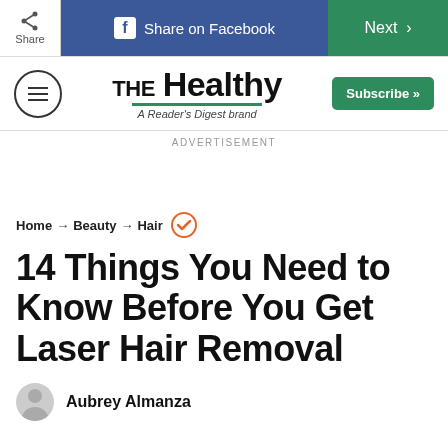Share | Share on Facebook | Next >
[Figure (logo): The Healthy - A Reader's Digest brand logo with hamburger menu and Subscribe button]
ADVERTISEMENT
Home → Beauty → Hair
14 Things You Need to Know Before You Get Laser Hair Removal
Aubrey Almanza